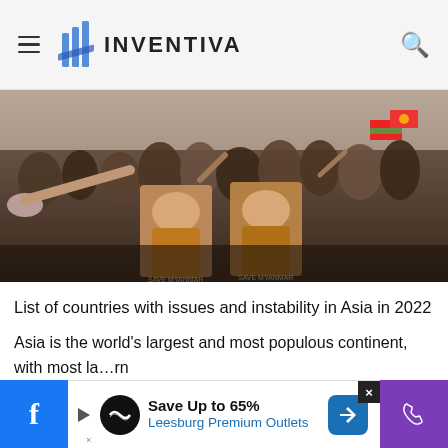INVENTIVA
[Figure (photo): Crowd of protesters holding portraits of Aung San Suu Kyi and Myanmar flags, some wearing masks, at a Myanmar protest rally]
List of countries with issues and instability in Asia in 2022
Asia is the world's largest and most populous continent, with most la…rn
[Figure (infographic): Advertisement banner: Save Up to 65% Leesburg Premium Outlets, with Facebook icon on left and phone icon on right purple section]